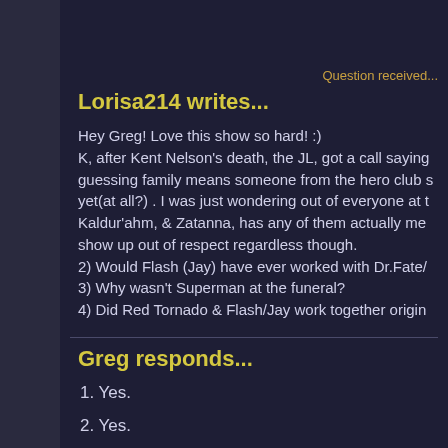Question received...
Lorisa214 writes...
Hey Greg! Love this show so hard! :)
K, after Kent Nelson's death, the JL, got a call saying guessing family means someone from the hero club yet(at all?) . I was just wondering out of everyone at Kaldur'ahm, & Zatanna, has any of them actually me show up out of respect regardless though.
2) Would Flash (Jay) have ever worked with Dr.Fate/
3) Why wasn't Superman at the funeral?
4) Did Red Tornado & Flash/Jay work together origin
Greg responds...
1. Yes.
2. Yes.
3. Busy.